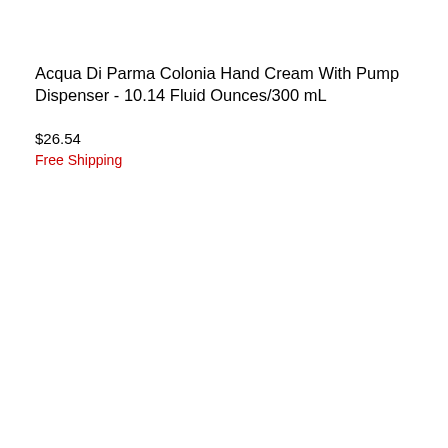Acqua Di Parma Colonia Hand Cream With Pump Dispenser - 10.14 Fluid Ounces/300 mL
$26.54
Free Shipping